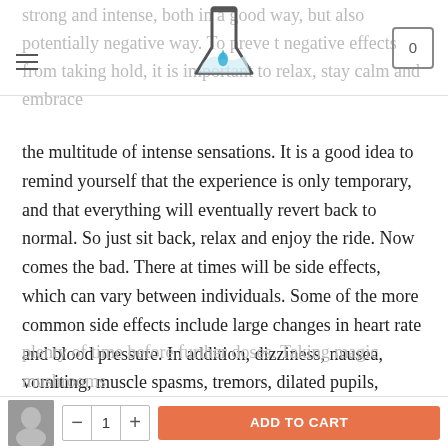[navigation header with flask logo and cart]
strong and intense, both in a good way, but also potentially negative way. To prevent negative effects from taking hold, it is important to relax, stay calm and embrace the multitude of intense sensations. It is a good idea to remind yourself that the experience is only temporary, and that everything will eventually revert back to normal. So just sit back, relax and enjoy the ride. Now comes the bad. There at times will be side effects, which can vary between individuals. Some of the more common side effects include large changes in heart rate and blood pressure. In addition, dizziness, nausea, vomiting, muscle spasms, tremors, dilated pupils, restlessness and troubles with hand-eye coordination are all potential side effects. In addition, psilocybin can potentially cause headaches, and upset stomach and diarrhea. With the negative effects in mind, it is always a good idea to start off small and give plenty of time before further doses. Taking magic mushrooms...
ADD TO CART  - 1 +